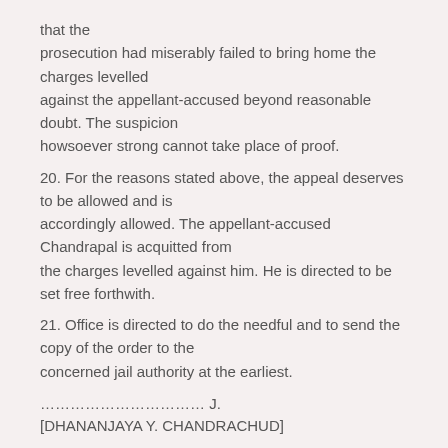that the prosecution had miserably failed to bring home the charges levelled against the appellant-accused beyond reasonable doubt. The suspicion howsoever strong cannot take place of proof.
20. For the reasons stated above, the appeal deserves to be allowed and is accordingly allowed. The appellant-accused Chandrapal is acquitted from the charges levelled against him. He is directed to be set free forthwith.
21. Office is directed to do the needful and to send the copy of the order to the concerned jail authority at the earliest.
…………………………… J.
[DHANANJAYA Y. CHANDRACHUD]
………………………………………J.
[BELA M. TRIVEDI]